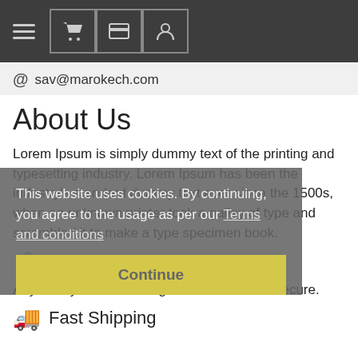[Figure (screenshot): Navigation bar with hamburger menu and icons for cart, payment, and user account on dark background]
@ sav@marokech.com
About Us
Lorem Ipsum is simply dummy text of the printing and typesetting industry. Lorem Ipsum has been the industry's standard dummy text ever since the 1500s, when an unknown printer took a galley of type and scrambled it to make a type specimen book.
This website uses cookies. By continuing, you agree to the usage as per our Terms and conditions
Continue
SSL Protected
Any data you choose to give us is safe and secure.
Fast Shipping